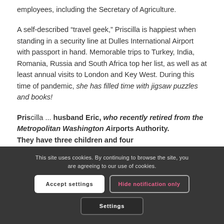employees, including the Secretary of Agriculture.
A self-described “travel geek,” Priscilla is happiest when standing in a security line at Dulles International Airport with passport in hand. Memorable trips to Turkey, India, Romania, Russia and South Africa top her list, as well as at least annual visits to London and Key West. During this time of pandemic, she has filled time with jigsaw puzzles and books!
Priscilla ... husband Eric, who recently retired from the Metropolitan Washington Airports Authority. They have three children and four...
This site uses cookies. By continuing to browse the site, you are agreeing to our use of cookies.